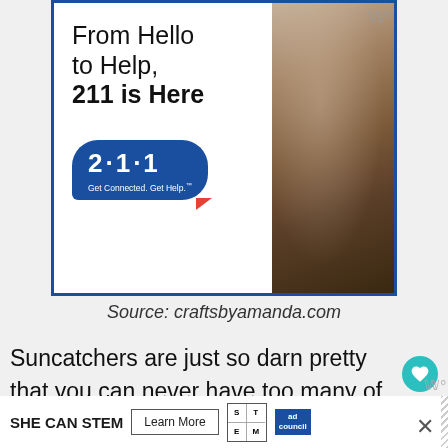[Figure (photo): Advertisement banner for 211 helpline showing an elderly man's face on the right, with text 'From Hello to Help, 211 is Here' and a blue speech bubble with '2·1·1' and tagline 'Get Connected. Get Help.']
Source: craftsbyamanda.com
Suncatchers are just so darn pretty that you can never have too many of them. Take a look at these fall suncatchers and te
[Figure (infographic): Bottom advertisement banner: SHE CAN STEM with Learn More button, STEM logo grid, and Ad Council logo]